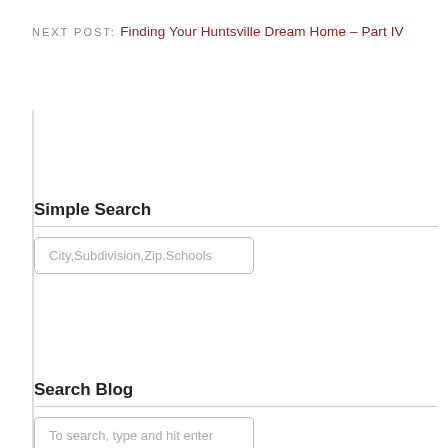NEXT POST: Finding Your Huntsville Dream Home – Part IV
Simple Search
City,Subdivision,Zip,Schools
Search Blog
To search, type and hit enter